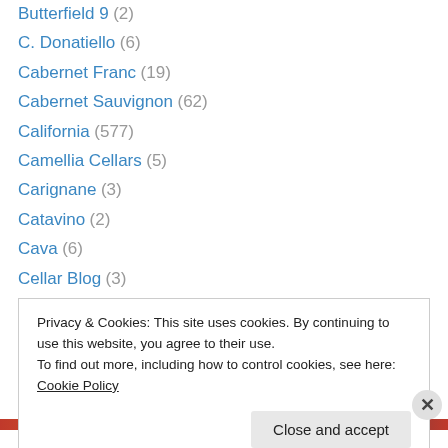Butterfield 9 (2)
C. Donatiello (6)
Cabernet Franc (19)
Cabernet Sauvignon (62)
California (577)
Camellia Cellars (5)
Carignane (3)
Catavino (2)
Cava (6)
Cellar Blog (3)
Cellar Tracker (3)
Chablis (2)
Champagne (11)
Privacy & Cookies: This site uses cookies. By continuing to use this website, you agree to their use. To find out more, including how to control cookies, see here: Cookie Policy
Close and accept
Advertisements